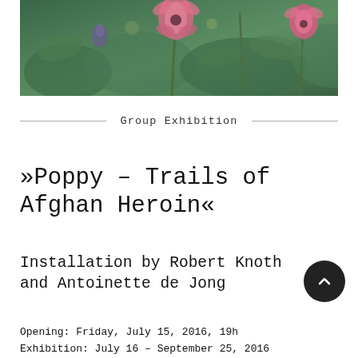[Figure (photo): Photograph of poppy flowers with pink blooms and green foliage in a field]
Group Exhibition
»Poppy – Trails of Afghan Heroin«
Installation by Robert Knoth and Antoinette de Jong
Opening: Friday, July 15, 2016, 19h
Exhibition: July 16 – September 25, 2016